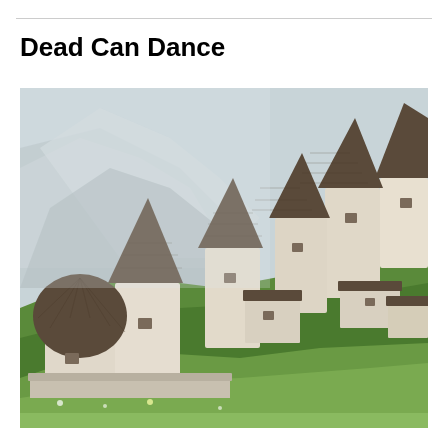Dead Can Dance
[Figure (photo): Photograph of ancient stone burial towers with conical dark slate roofs clustered on a green hillside, with misty mountains in the background. The structures are whitish-grey stone with small windows, resembling a medieval necropolis or ossuary village.]